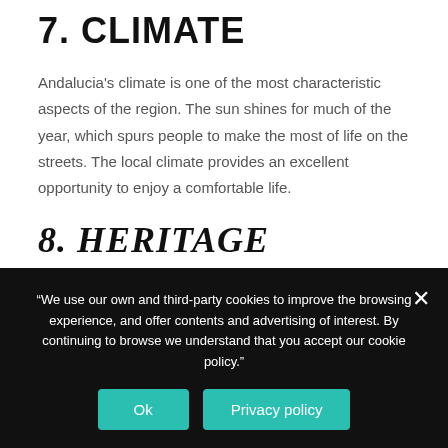7. CLIMATE
Andalucia's climate is one of the most characteristic aspects of the region. The sun shines for much of the year, which spurs people to make the most of life on the streets. The local climate provides an excellent opportunity to enjoy a comfortable life.
8. HERITAGE
The cultural richness of Andalucia can especially found in its heritage. You cannot leave Andalucia without visiting one of
“We use our own and third-party cookies to improve the browsing experience, and offer contents and advertising of interest. By continuing to browse we understand that you accept our cookie policy.”